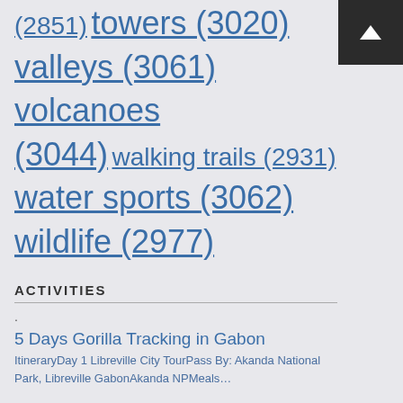(2851) towers (3020) valleys (3061) volcanoes (3044) walking trails (2931) water sports (3062) wildlife (2977)
ACTIVITIES
5 Days Gorilla Tracking in Gabon — ItineraryDay 1 Libreville City TourPass By: Akanda National Park, Libreville GabonAkanda NPMeals…
The Eco Safari in Gabon 6Days/ 5Nights — ItineraryDay 1 Day 01-Arrival- LibrevilleStop At: Libreville, Libreville, Estuaire ProvinceUpon…